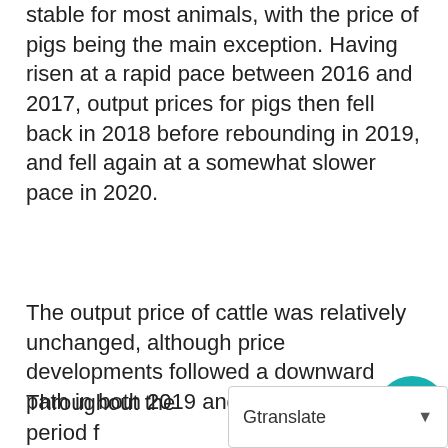stable for most animals, with the price of pigs being the main exception. Having risen at a rapid pace between 2016 and 2017, output prices for pigs then fell back in 2018 before rebounding in 2019, and fell again at a somewhat slower pace in 2020.
The output price of cattle was relatively unchanged, although price developments followed a downward path in both 2019 and 2020.
Throughout the period f 2016-2019, output price